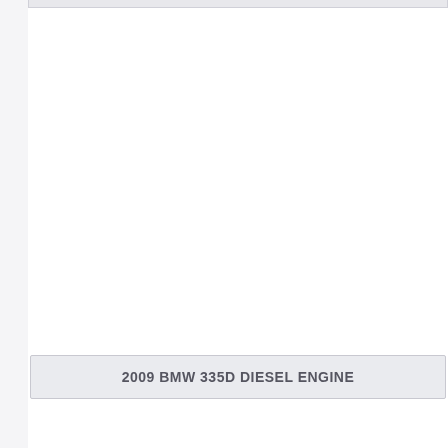[Figure (other): Partial view of a document page showing a 2009 BMW 335D Diesel Engine label bar on a light gray background. The top portion shows a horizontal bar at the very top edge, and the main area is white/blank. A labeled banner reads '2009 BMW 335D DIESEL ENGINE' in bold dark gray text on a light gray rectangle.]
2009 BMW 335D DIESEL ENGINE